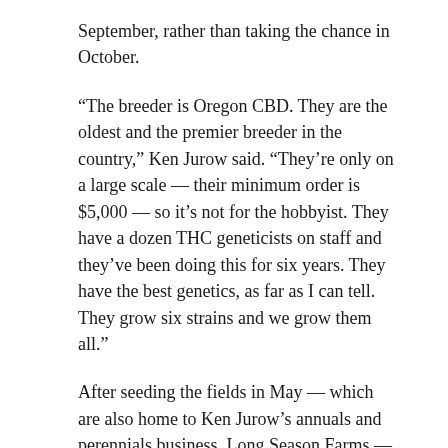September, rather than taking the chance in October.
“The breeder is Oregon CBD. They are the oldest and the premier breeder in the country,” Ken Jurow said. “They’re only on a large scale — their minimum order is $5,000 — so it’s not for the hobbyist. They have a dozen THC geneticists on staff and they’ve been doing this for six years. They have the best genetics, as far as I can tell. They grow six strains and we grow them all.”
After seeding the fields in May — which are also home to Ken Jurow’s annuals and perennials business, Long Season Farms — it is simply a waiting game as the plants mature, he explained, coupled with rigorous testing of the THC levels to make sure they are compliant.
As far as the time to harvest, “anybody with experience with cannabis pretty much knows,” he said. Over approximately eight days, the team will pick and process only the prime flowers, his son explained, which have the highest concentration of CBD.